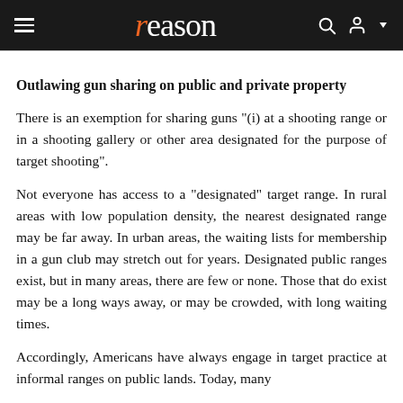reason
Outlawing gun sharing on public and private property
There is an exemption for sharing guns "(i) at a shooting range or in a shooting gallery or other area designated for the purpose of target shooting".
Not everyone has access to a "designated" target range. In rural areas with low population density, the nearest designated range may be far away. In urban areas, the waiting lists for membership in a gun club may stretch out for years. Designated public ranges exist, but in many areas, there are few or none. Those that do exist may be a long ways away, or may be crowded, with long waiting times.
Accordingly, Americans have always engage in target practice at informal ranges on public lands. Today, many